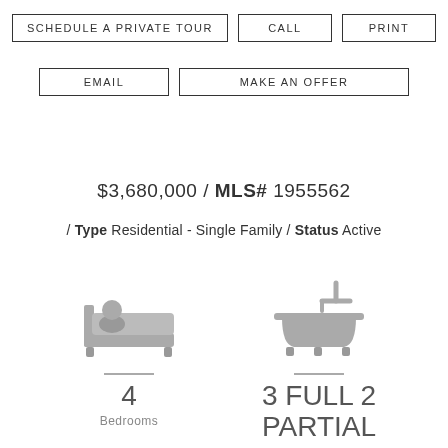SCHEDULE A PRIVATE TOUR | CALL | PRINT | EMAIL | MAKE AN OFFER
$3,680,000 / MLS# 1955562
/ Type Residential - Single Family / Status Active
[Figure (illustration): Bedroom icon (bed with pillow and person silhouette), gray color]
4
Bedrooms
[Figure (illustration): Bathroom icon (bathtub with faucet), gray color]
3 FULL 2 PARTIAL